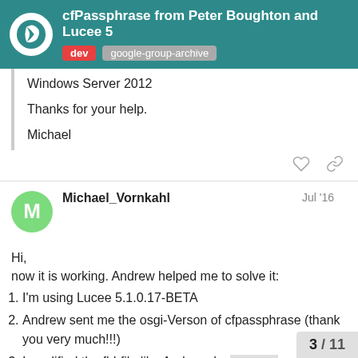cfPassphrase from Peter Boughton and Lucee 5 | dev | google-group-archive
Windows Server 2012

Thanks for your help.

Michael
Michael_Vornkahl  Jul '16
Hi,
now it is working. Andrew helped me to solve it:
I'm using Lucee 5.1.0.17-BETA
Andrew sent me the osgi-Verson of cfpassphrase (thank you very much!!!)
I modified the fld-file like Andrew described it:
https://github.com/boughtonp/cfpass…
3 / 11